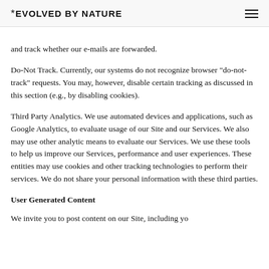*EVOLVED BY NATURE
and track whether our e-mails are forwarded.
Do-Not Track. Currently, our systems do not recognize browser "do-not-track" requests. You may, however, disable certain tracking as discussed in this section (e.g., by disabling cookies).
Third Party Analytics. We use automated devices and applications, such as Google Analytics, to evaluate usage of our Site and our Services. We also may use other analytic means to evaluate our Services. We use these tools to help us improve our Services, performance and user experiences. These entities may use cookies and other tracking technologies to perform their services. We do not share your personal information with these third parties.
User Generated Content
We invite you to post content on our Site, including yo...